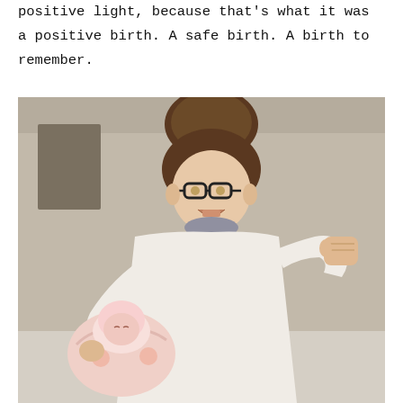positive light, because that's what it was a positive birth. A safe birth. A birth to remember.
[Figure (photo): A woman with glasses and hair in a bun smiling and holding a newborn baby, pumping her fist in celebration. Hospital setting.]